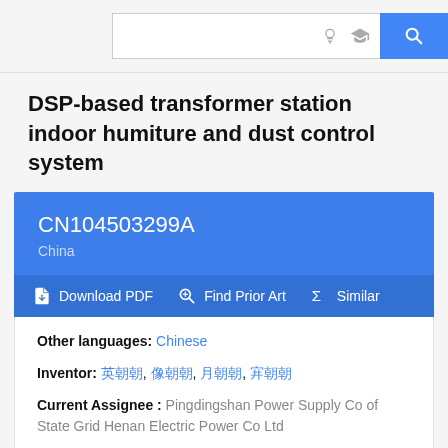[Figure (screenshot): Top search bar with lightbulb icon, graduation cap icon, and blue search button with magnifying glass icon]
DSP-based transformer station indoor humiture and dust control system
CN104503299A
China
Download PDF  Find Prior Art  Similar
Other languages: Chinese
Inventor: [Chinese characters], [Chinese characters], [Chinese characters], [Chinese characters]
Current Assignee : Pingdingshan Power Supply Co of State Grid Henan Electric Power Co Ltd
Worldwide applications